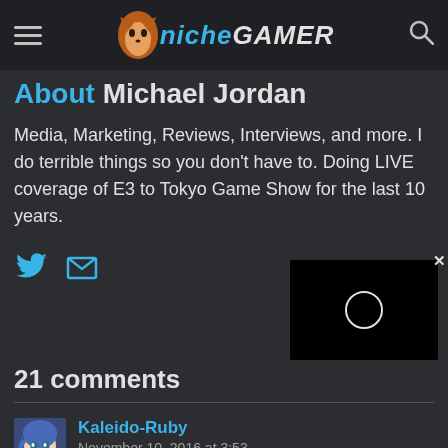Niche Gamer
About Michael Jordan
Media, Marketing, Reviews, Interviews, and more. I do terrible things so you don't have to. Doing LIVE coverage of E3 to Tokyo Game Show for the last 10 years.
[Figure (other): Social media icons: Twitter bird and envelope/email icon in blue]
[Figure (other): Black video player with loading circle and close X button]
21 comments
[Figure (other): Anime-style avatar of Kaleido-Ruby character with blue hair]
Kaleido-Ruby
November 10, 2016 at 3:53